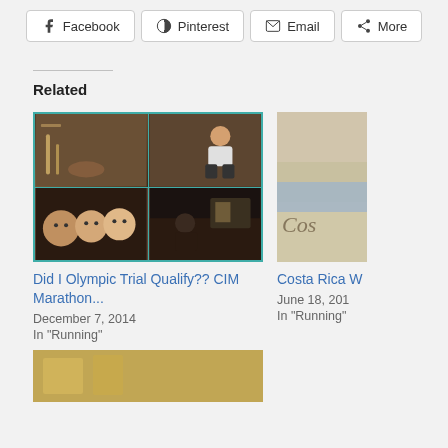Facebook | Pinterest | Email | More
Related
[Figure (photo): Four-panel photo grid showing people at what appears to be a marathon event indoor venue]
Did I Olympic Trial Qualify?? CIM Marathon...
December 7, 2014
In "Running"
[Figure (photo): Partial image showing 'Costa' written in sand on a beach]
Costa Rica W
June 18, 201
In "Running"
[Figure (photo): Partial bottom image strip]